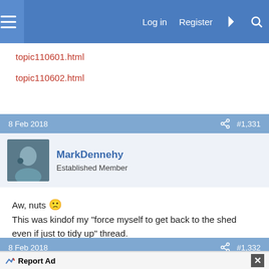Log in  Register
topic110601.html
topic110602.html
8 Feb 2018  #1,331
MarkDennehy
Established Member
Aw, nuts 🙁
This was kindof my "force myself to get back to the shed even if just to tidy up" thread.
8 Feb 2018  #1,332
Report Ad